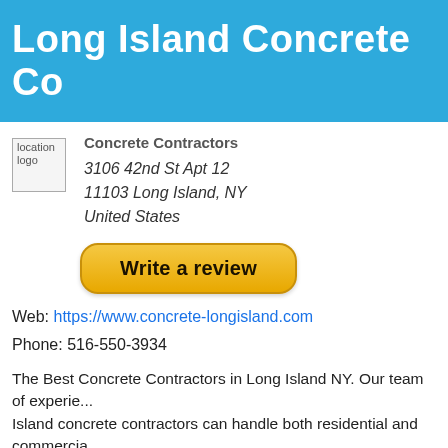Long Island Concrete Co
[Figure (logo): Location logo placeholder image]
Concrete Contractors
3106 42nd St Apt 12
11103 Long Island, NY
United States
[Figure (other): Write a review button]
Web: https://www.concrete-longisland.com
Phone: 516-550-3934
The Best Concrete Contractors in Long Island NY. Our team of experie... Island concrete contractors can handle both residential and commercia... We can tackle anything from basic concrete slabs to building...